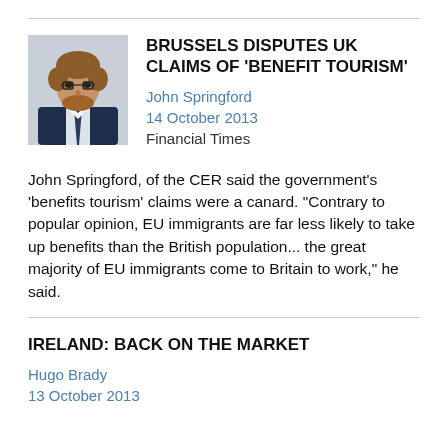BRUSSELS DISPUTES UK CLAIMS OF 'BENEFIT TOURISM'
John Springford
14 October 2013
Financial Times
John Springford, of the CER said the government's 'benefits tourism' claims were a canard. "Contrary to popular opinion, EU immigrants are far less likely to take up benefits than the British population... the great majority of EU immigrants come to Britain to work," he said.
IRELAND: BACK ON THE MARKET
Hugo Brady
13 October 2013